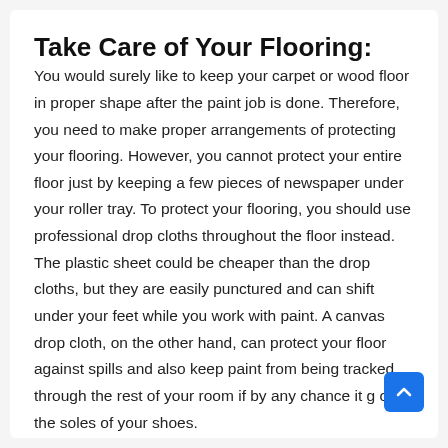Take Care of Your Flooring:
You would surely like to keep your carpet or wood floor in proper shape after the paint job is done. Therefore, you need to make proper arrangements of protecting your flooring. However, you cannot protect your entire floor just by keeping a few pieces of newspaper under your roller tray. To protect your flooring, you should use professional drop cloths throughout the floor instead. The plastic sheet could be cheaper than the drop cloths, but they are easily punctured and can shift under your feet while you work with paint. A canvas drop cloth, on the other hand, can protect your floor against spills and also keep paint from being tracked through the rest of your room if by any chance it g on the soles of your shoes.